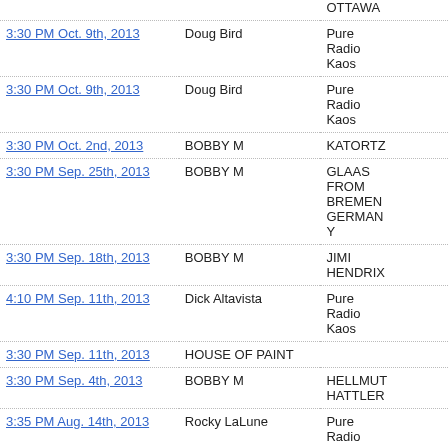| Date/Time | Host | Station |
| --- | --- | --- |
|  |  | OTTAWA |
| 3:30 PM Oct. 9th, 2013 | Doug Bird | Pure Radio Kaos |
| 3:30 PM Oct. 9th, 2013 | Doug Bird | Pure Radio Kaos |
| 3:30 PM Oct. 2nd, 2013 | BOBBY M | KATORTZ |
| 3:30 PM Sep. 25th, 2013 | BOBBY M | GLAAS FROM BREMEN GERMANY |
| 3:30 PM Sep. 18th, 2013 | BOBBY M | JIMI HENDRIX |
| 4:10 PM Sep. 11th, 2013 | Dick Altavista | Pure Radio Kaos |
| 3:30 PM Sep. 11th, 2013 | HOUSE OF PAINT |  |
| 3:30 PM Sep. 4th, 2013 | BOBBY M | HELLMUT HATTLER |
| 3:35 PM Aug. 14th, 2013 | Rocky LaLune | Pure Radio |